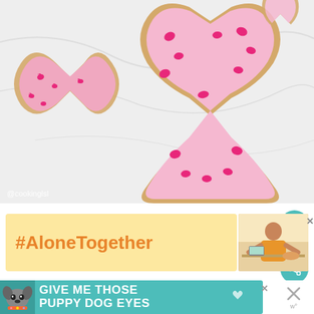[Figure (photo): Pink ribbon-shaped cookies decorated with smaller pink ribbon designs on pink icing, on a white marble surface. Breast cancer awareness theme cookies. Watermark: @cookinglsl]
@cookinglsl
[Figure (infographic): #AloneTogether promotional banner with yellow/gold background, orange bold hashtag text, and a small thumbnail image of a woman cooking]
[Figure (infographic): Teal advertisement banner reading 'GIVE ME THOSE PUPPY DOG EYES' with a dog image on the left and a heart icon]